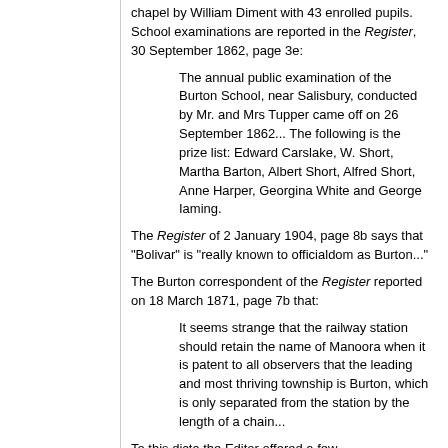chapel by William Diment with 43 enrolled pupils.
School examinations are reported in the Register, 30 September 1862, page 3e:
The annual public examination of the Burton School, near Salisbury, conducted by Mr. and Mrs Tupper came off on 26 September 1862... The following is the prize list: Edward Carslake, W. Short, Martha Barton, Albert Short, Alfred Short, Anne Harper, Georgina White and George Iaming.
The Register of 2 January 1904, page 8b says that "Bolivar" is "really known to officialdom as Burton..."
The Burton correspondent of the Register reported on 18 March 1871, page 7b that:
It seems strange that the railway station should retain the name of Manoora when it is patent to all observers that the leading and most thriving township is Burton, which is only separated from the station by the length of a chain...
To this dicta the Editor offered a few